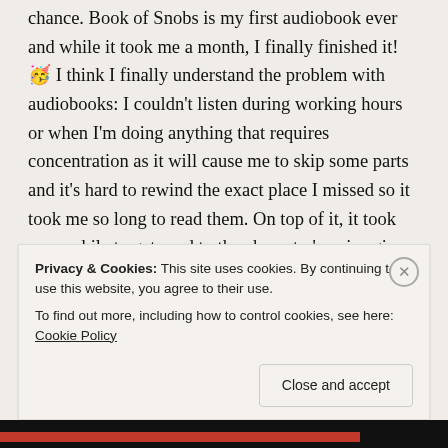chance. Book of Snobs is my first audiobook ever and while it took me a month, I finally finished it! 🥳 I think I finally understand the problem with audiobooks: I couldn't listen during working hours or when I'm doing anything that requires concentration as it will cause me to skip some parts and it's hard to rewind the exact place I missed so it took me so long to read them. On top of it, it took me a while to get used to the character's voice given by the narrator; the beginning was a struggle for me 😢 However once I got used to the voices, it works well for me! Non-fiction doesn't have this problem, so I will probably use audiobooks
Privacy & Cookies: This site uses cookies. By continuing to use this website, you agree to their use.
To find out more, including how to control cookies, see here: Cookie Policy
Close and accept